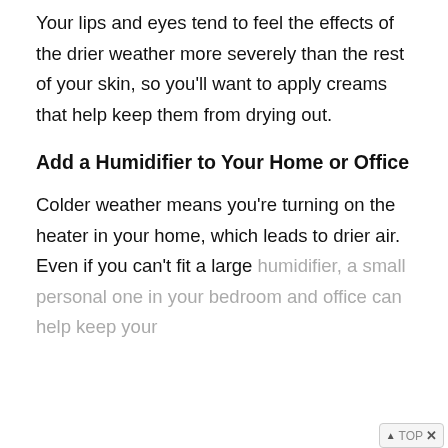Your lips and eyes tend to feel the effects of the drier weather more severely than the rest of your skin, so you'll want to apply creams that help keep them from drying out.
Add a Humidifier to Your Home or Office
Colder weather means you're turning on the heater in your home, which leads to drier air. Even if you can't fit a large humidifier, a small personal one in your bedroom and office can help keep your